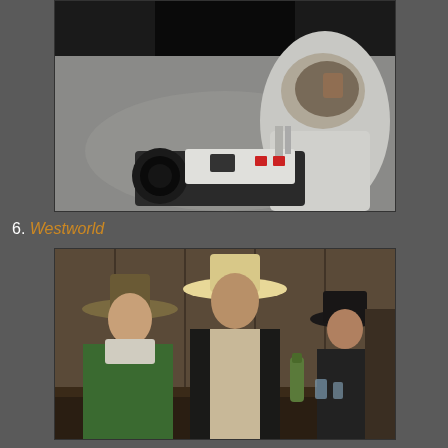[Figure (photo): Film still showing an astronaut in a white spacesuit on the moon surface, holding a camera with a large lens. The visor reflects the scene. The background shows the dark space above and grey lunar surface.]
6. Westworld
[Figure (photo): Film still from Westworld showing three cowboys/western characters at what appears to be a bar. Two characters in the foreground wear cowboy hats, one in a green shirt and one in a dark vest. A third character in a dark cowboy hat is seated at the bar counter in the background.]